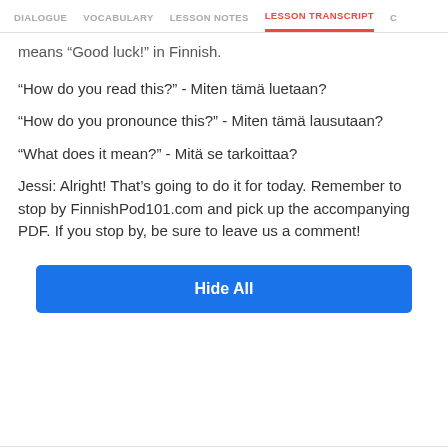DIALOGUE | VOCABULARY | LESSON NOTES | LESSON TRANSCRIPT | C
means “Good luck!” in Finnish.
“How do you read this?” - Miten tämä luetaan?
“How do you pronounce this?” - Miten tämä lausutaan?
“What does it mean?” - Mitä se tarkoittaa?
Jessi: Alright! That’s going to do it for today. Remember to stop by FinnishPod101.com and pick up the accompanying PDF. If you stop by, be sure to leave us a comment!
Hide All